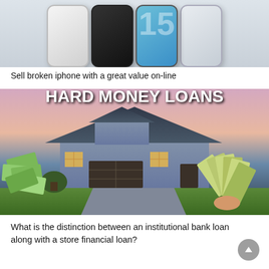[Figure (photo): Photo of multiple iPhones arranged side by side showing back panels including white, black, and blue/teal colored phones]
Sell broken iphone with a great value on-line
[Figure (photo): Hard Money Loans advertisement image showing a suburban house with text 'HARD MONEY LOANS' overlaid, with money/cash scattered in the foreground]
What is the distinction between an institutional bank loan along with a store financial loan?